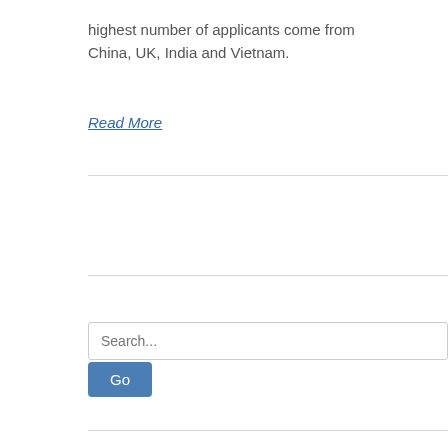highest number of applicants come from China, UK, India and Vietnam.
Read More
Search...
Go